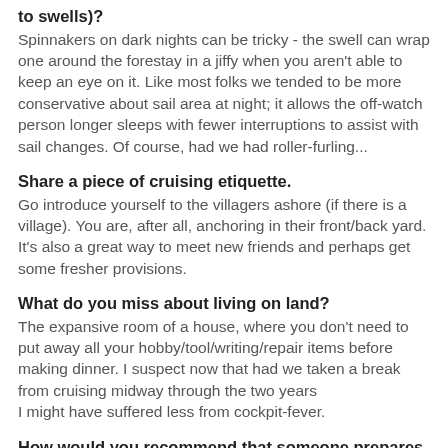to swells)?
Spinnakers on dark nights can be tricky - the swell can wrap one around the forestay in a jiffy when you aren't able to keep an eye on it. Like most folks we tended to be more conservative about sail area at night; it allows the off-watch person longer sleeps with fewer interruptions to assist with sail changes. Of course, had we had roller-furling...
Share a piece of cruising etiquette.
Go introduce yourself to the villagers ashore (if there is a village). You are, after all, anchoring in their front/back yard. It's also a great way to meet new friends and perhaps get some fresher provisions.
What do you miss about living on land?
The expansive room of a house, where you don't need to put away all your hobby/tool/writing/repair items before making dinner. I suspect now that had we taken a break from cruising midway through the two years
I might have suffered less from cockpit-fever.
How would you recommend that someone prepares to